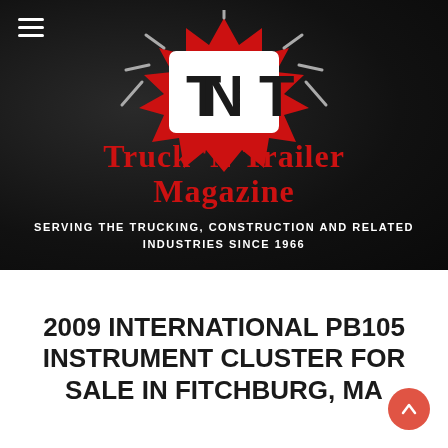[Figure (logo): TNT logo — white block letters T, N, T on a red star-burst/explosion shape with grey lightning bolt accents, on a dark textured background]
CLIENT LOGIN
Truck 'N Trailer Magazine
SERVING THE TRUCKING, CONSTRUCTION AND RELATED INDUSTRIES SINCE 1966
2009 INTERNATIONAL PB105 INSTRUMENT CLUSTER FOR SALE IN FITCHBURG, MA